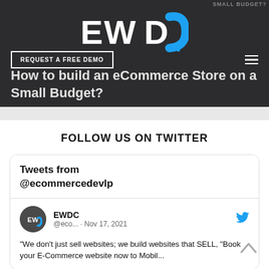[Figure (logo): EWDC logo with white bold letters and blue stylized C, on dark background]
REQUEST A FREE DEMO
How to build an eCommerce Store on a Small Budget?
FOLLOW US ON TWITTER
Tweets from @ecommercedevlp
EWDC @eco... · Nov 17, 2021
"We don't just sell websites; we build websites that SELL, "Book your E-Commerce website now to Mobile